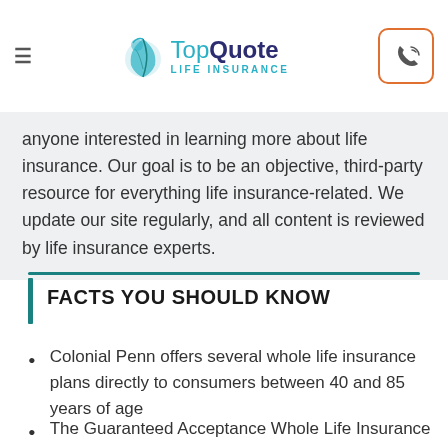TopQuote Life Insurance
anyone interested in learning more about life insurance. Our goal is to be an objective, third-party resource for everything life insurance-related. We update our site regularly, and all content is reviewed by life insurance experts.
FACTS YOU SHOULD KNOW
Colonial Penn offers several whole life insurance plans directly to consumers between 40 and 85 years of age
The Guaranteed Acceptance Whole Life Insurance plan requires no medical exam or